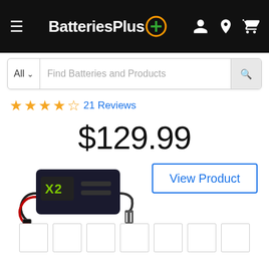BatteriesPlus+ navigation header with hamburger menu, logo, and icons
All  Find Batteries and Products
★★★★½ 21 Reviews
$129.99
[Figure (photo): X2 battery charger product photo with cables and clamps]
View Product
[Figure (other): Row of 7 empty thumbnail placeholder boxes]